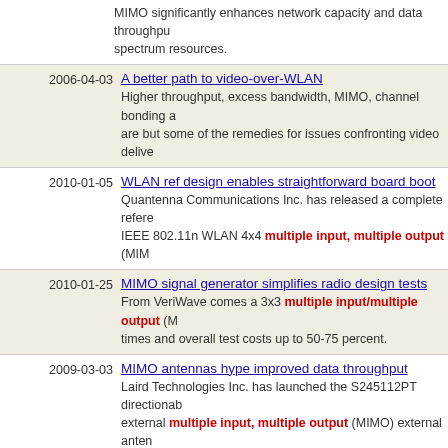MIMO significantly enhances network capacity and data throughput spectrum resources.
2006-04-03 | A better path to video-over-WLAN | Higher throughput, excess bandwidth, MIMO, channel bonding are but some of the remedies for issues confronting video delivery
2010-01-05 | WLAN ref design enables straightforward board boot | Quantenna Communications Inc. has released a complete reference IEEE 802.11n WLAN 4x4 multiple input, multiple output (MIMO)
2010-01-25 | MIMO signal generator simplifies radio design tests | From VeriWave comes a 3x3 multiple input/multiple output (M times and overall test costs up to 50-75 percent.
2009-03-03 | MIMO antennas hype improved data throughput | Laird Technologies Inc. has launched the S245112PT directional external multiple input, multiple output (MIMO) external antenna
2009-02-20 | MIMO antenna improves WLAN operations | From Laird Technologies Inc. comes the SM24513P3 dual-band (MIMO) internal antenna designed to enhance the latest generation
2011-02-18 | MIMO active array antenna unveiled for mobile broadband | Powerwave Technologies has introduced a new multiple-input antenna which is expected to increase mobile broadband coverage